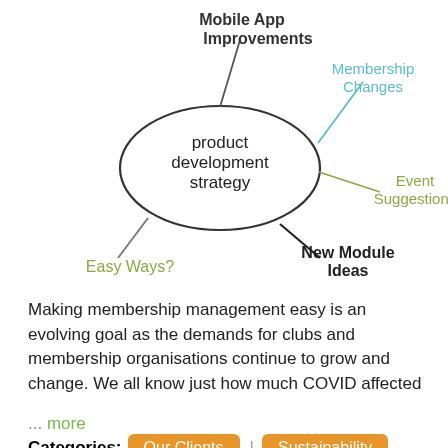[Figure (other): Mind map diagram with central oval labeled 'product development strategy' and branches to: Mobile App Improvements (top), Membership Changes (top-right, teal), Event Suggestions (right, olive/green), New Module Ideas (bottom-right, bold), Easy Ways? (bottom-left, olive/green)]
Making membership management easy is an evolving goal as the demands for clubs and membership organisations continue to grow and change. We all know just how much COVID affected
... more
Categories: Our Clients | Sustainability